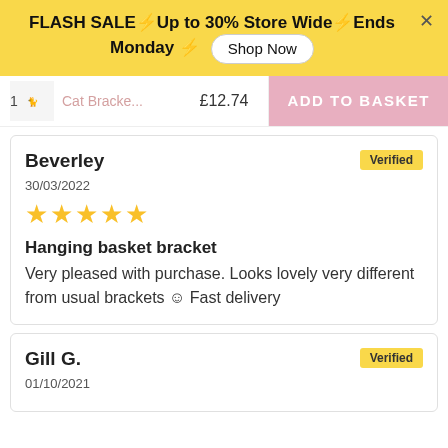FLASH SALE⚡Up to 30% Store Wide⚡Ends Monday ⚡ Shop Now
Cat Bracke... £12.74 ADD TO BASKET
Beverley
Verified
30/03/2022
★★★★★
Hanging basket bracket
Very pleased with purchase. Looks lovely very different from usual brackets 😊 Fast delivery
Gill G.
Verified
01/10/2021